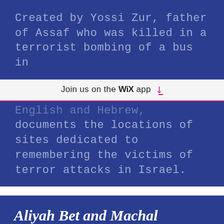Created by Yossi Zur, father of Assaf who was killed in a terrorist bombing of a bus in
Join us on the WiX app
English and Hebrew, documents the locations of sites dedicated to remembering the victims of terror attacks in Israel.
Aliyah Bet and Machal Virtual Museum
http://www.israelvets.com/home.html
“This Virtual Museum relates the history and most of the names of the approximately